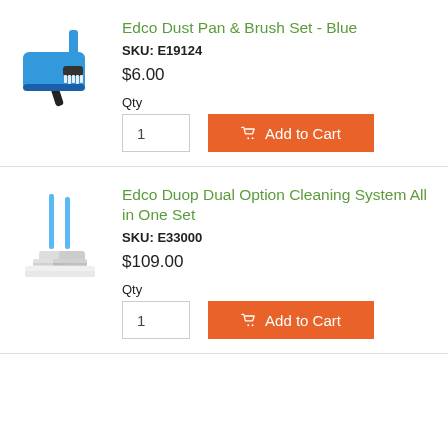[Figure (illustration): Blue dustpan and brush set product image]
Edco Dust Pan & Brush Set - Blue
SKU: E19124
$6.00
Qty
1
Add to Cart
[Figure (illustration): Edco Duop Dual Option Cleaning System All in One Set product image showing mop system]
Edco Duop Dual Option Cleaning System All in One Set
SKU: E33000
$109.00
Qty
1
Add to Cart